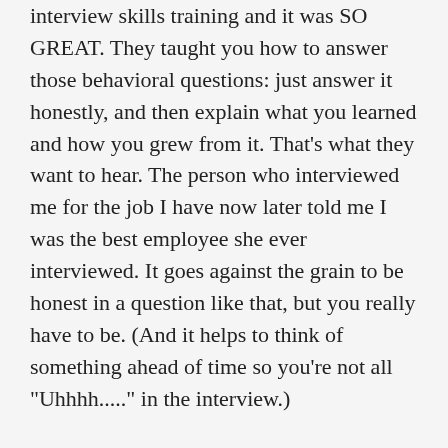interview skills training and it was SO GREAT. They taught you how to answer those behavioral questions: just answer it honestly, and then explain what you learned and how you grew from it. That's what they want to hear. The person who interviewed me for the job I have now later told me I was the best employee she ever interviewed. It goes against the grain to be honest in a question like that, but you really have to be. (And it helps to think of something ahead of time so you're not all "Uhhhh...." in the interview.)
Also, I cheerfully offered the URL of my website to the same person to look over before she hired me. 🙂 (At the time, it was just Tilneys and Trap-doors...no AustenBlog yet.)